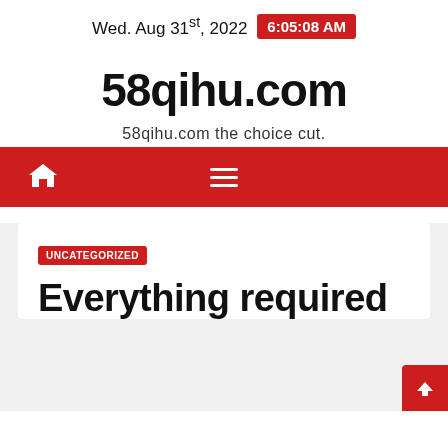Wed. Aug 31st, 2022  6:05:08 AM
58qihu.com
58qihu.com the choice cut.
[Figure (other): Red navigation bar with home icon on left and hamburger menu icon in center]
UNCATEGORIZED
Everything required